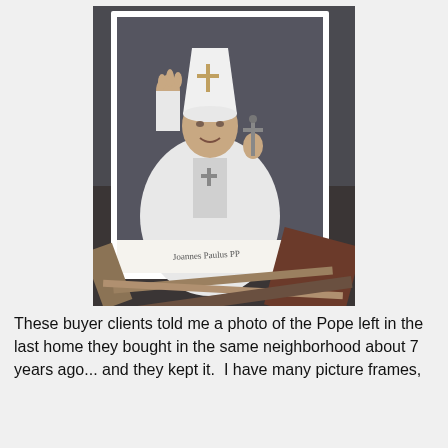[Figure (photo): A photograph of Pope John Paul II in white papal vestments and mitre, raising his right hand in blessing and holding a crucifix in his left hand. The photo is in a white frame and is leaning against other frames and objects on the floor.]
These buyer clients told me a photo of the Pope left in the last home they bought in the same neighborhood about 7 years ago... and they kept it.  I have many picture frames,